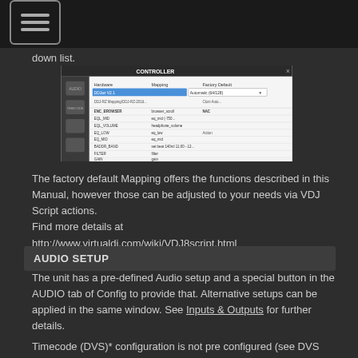[hamburger menu icon]
down list.
[Figure (screenshot): VirtualDJ Controller configuration dialog showing mapping settings with a list of controller parameters and their actions]
The factory default Mapping offers the functions described in this Manual, however those can be adjusted to your needs via VDJ Script actions.
Find more details at
http://www.virtualdj.com/wiki/VDJ8script.html
AUDIO SETUP
The unit has a pre-defined Audio setup and a special button in the AUDIO tab of Config to provide that. Alternative setups can be applied in the same window. See Inputs & Outputs for further details.
Timecode (DVS)* configuration is not pre configured (see DVS